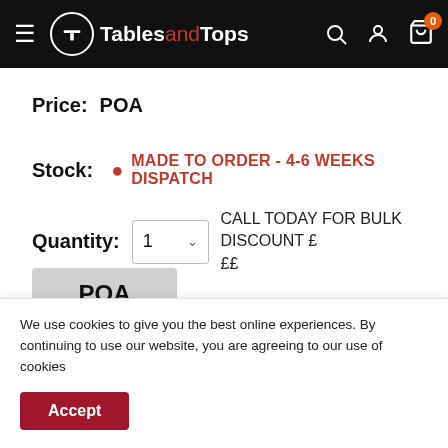TablesandTops
Price: POA
Stock: MADE TO ORDER - 4-6 WEEKS DISPATCH
Quantity: 1  CALL TODAY FOR BULK DISCOUNT £ ££
POA
We use cookies to give you the best online experiences. By continuing to use our website, you are agreeing to our use of cookies
Accept